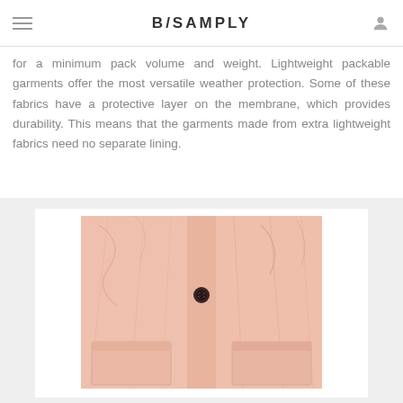B/SAMPLY
for a minimum pack volume and weight. Lightweight packable garments offer the most versatile weather protection. Some of these fabrics have a protective layer on the membrane, which provides durability. This means that the garments made from extra lightweight fabrics need no separate lining.
[Figure (photo): Close-up photo of a light pink packable jacket/garment with a dark button and patch pockets, shown on a white background inside a light grey container.]